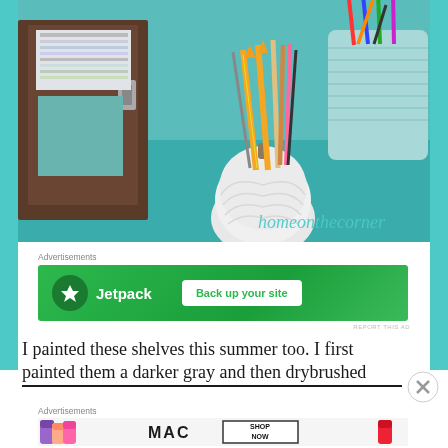[Figure (photo): Photo of a desk/shelf with pencils, pens and markers in a white pumpkin-shaped holder and a light blue ribbed cup, with a brown book holder on the left. Teal background. Watermark text 'homeonthecorner' in light blue script at bottom right.]
Advertisements
[Figure (other): Jetpack advertisement banner with green background showing Jetpack logo and 'Back up your site' button]
REPORT THIS AD
I painted these shelves this summer too. I first painted them a darker gray and then drybrushed
Advertisements
[Figure (other): MAC Cosmetics advertisement showing lipsticks and SHOP NOW text]